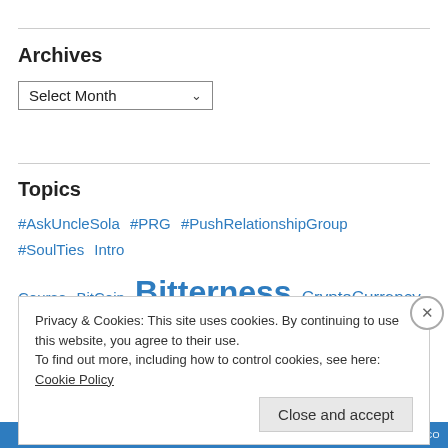Archives
Select Month
Topics
#AskUncleSola  #PRG  #PushRelationshipGroup  #SoulTies  Intro Course  BitCoin  Bitterness  CryptoCurrency  Iyanu  Kingdom Of God  Masturbation  Miscellaneous  Relationships
Privacy & Cookies: This site uses cookies. By continuing to use this website, you agree to their use.
To find out more, including how to control cookies, see here: Cookie Policy
Close and accept